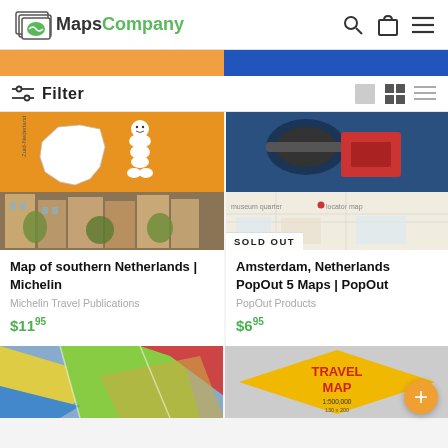MapsCompany
[Figure (screenshot): Partial top banner with orange left section and blue right section]
Filter
[Figure (photo): Map of southern Netherlands - Michelin product image: orange background with Netherlands map outline, Michelin Man mascot, and Amsterdam street photo]
Map of southern Netherlands | Michelin
Michelin Travel Publications
$11.95
[Figure (photo): Amsterdam, Netherlands PopOut 5 Maps - shows luggage/travel bag with Amsterdam map inset, SOLD OUT badge]
Amsterdam, Netherlands PopOut 5 Maps | PopOut
PopOut Products
$6.95
[Figure (photo): Bottom-left product: colorful folded map in blue and yellow tones]
[Figure (photo): Bottom-right product: Travel Map product with yellow diamond sign graphic, scale 1:500,000]